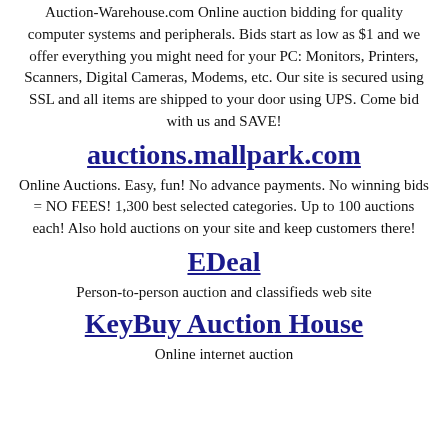Auction-Warehouse.com Online auction bidding for quality computer systems and peripherals. Bids start as low as $1 and we offer everything you might need for your PC: Monitors, Printers, Scanners, Digital Cameras, Modems, etc. Our site is secured using SSL and all items are shipped to your door using UPS. Come bid with us and SAVE!
auctions.mallpark.com
Online Auctions. Easy, fun! No advance payments. No winning bids = NO FEES! 1,300 best selected categories. Up to 100 auctions each! Also hold auctions on your site and keep customers there!
EDeal
Person-to-person auction and classifieds web site
KeyBuy Auction House
Online internet auction